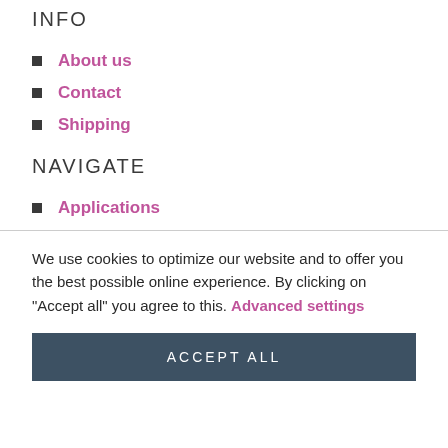INFO
About us
Contact
Shipping
NAVIGATE
Applications
We use cookies to optimize our website and to offer you the best possible online experience. By clicking on "Accept all" you agree to this. Advanced settings
ACCEPT ALL